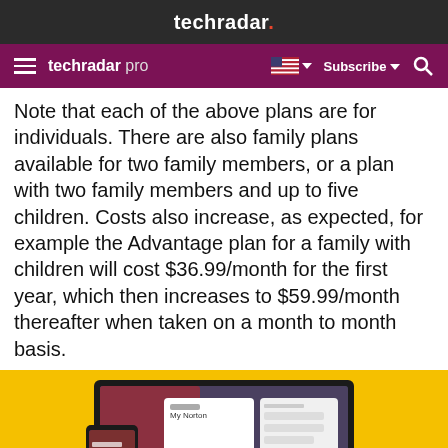techradar.
techradar pro | Subscribe | Search
Note that each of the above plans are for individuals. There are also family plans available for two family members, or a plan with two family members and up to five children. Costs also increase, as expected, for example the Advantage plan for a family with children will cost $36.99/month for the first year, which then increases to $59.99/month thereafter when taken on a month to month basis.
[Figure (screenshot): Norton 360 dashboard shown on a laptop and mobile phone with a yellow background, displaying 'My Norton' interface]
[Figure (photo): IdentityForce advertisement banner with a couple smiling, quote: 'IdentityForce gives me a good sense of security.' — Gaetano G. Save 25% | 1-888-266-3930 GET PROTECTED]